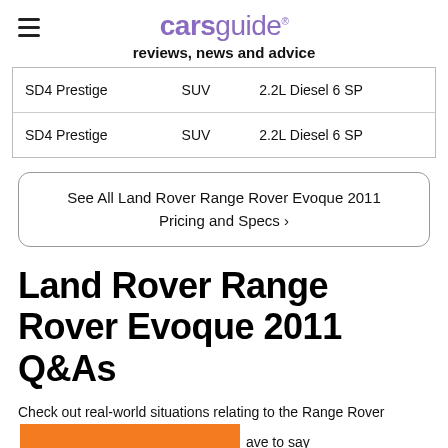carsguide reviews, news and advice
| SD4 Prestige | SUV | 2.2L Diesel 6 SP |
| SD4 Prestige | SUV | 2.2L Diesel 6 SP |
See All Land Rover Range Rover Evoque 2011 Pricing and Specs ›
Land Rover Range Rover Evoque 2011 Q&As
Check out real-world situations relating to the Range Rover [redacted] ave to say